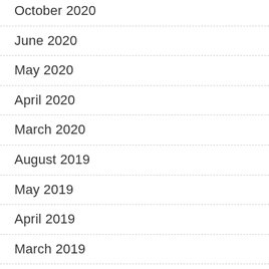October 2020
June 2020
May 2020
April 2020
March 2020
August 2019
May 2019
April 2019
March 2019
December 2018